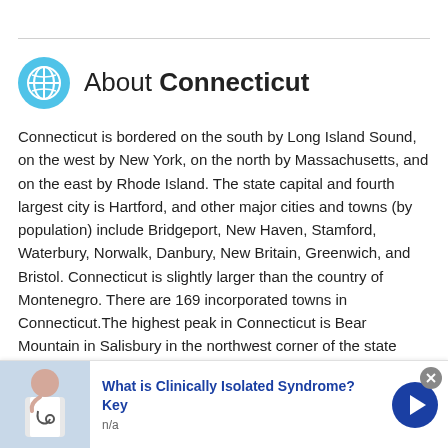About Connecticut
Connecticut is bordered on the south by Long Island Sound, on the west by New York, on the north by Massachusetts, and on the east by Rhode Island. The state capital and fourth largest city is Hartford, and other major cities and towns (by population) include Bridgeport, New Haven, Stamford, Waterbury, Norwalk, Danbury, New Britain, Greenwich, and Bristol. Connecticut is slightly larger than the country of Montenegro. There are 169 incorporated towns in Connecticut.The highest peak in Connecticut is Bear Mountain in Salisbury in the northwest corner of the state
[Figure (illustration): Advertisement banner showing a person in a white lab coat with a stethoscope, with text 'What is Clinically Isolated Syndrome? Key' and subtext 'n/a', with a blue arrow button and close button]